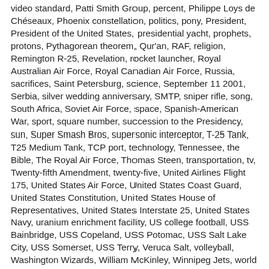video standard, Patti Smith Group, percent, Philippe Loys de Chéseaux, Phoenix constellation, politics, pony, President, President of the United States, presidential yacht, prophets, protons, Pythagorean theorem, Qur'an, RAF, religion, Remington R-25, Revelation, rocket launcher, Royal Australian Air Force, Royal Canadian Air Force, Russia, sacrifices, Saint Petersburg, science, September 11 2001, Serbia, silver wedding anniversary, SMTP, sniper rifle, song, South Africa, Soviet Air Force, space, Spanish-American War, sport, square number, succession to the Presidency, sun, Super Smash Bros, supersonic interceptor, T-25 Tank, T25 Medium Tank, TCP port, technology, Tennessee, the Bible, The Royal Air Force, Thomas Steen, transportation, tv, Twenty-fifth Amendment, twenty-five, United Airlines Flight 175, United States Air Force, United States Coast Guard, United States Constitution, United States House of Representatives, United States Interstate 25, United States Navy, uranium enrichment facility, US college football, USS Bainbridge, USS Copeland, USS Potomac, USS Salt Lake City, USS Somerset, USS Terry, Veruca Salt, volleyball, Washington Wizards, William McKinley, Winnipeg Jets, world trade center, World War I, world wide web, Wyoming, Yamaha R25, Zager and Evans,